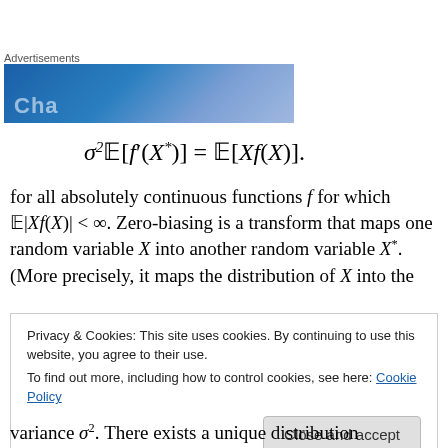[Figure (other): Advertisement banner with blue-to-purple gradient and partial white text]
for all absolutely continuous functions f for which E|Xf(X)| < ∞. Zero-biasing is a transform that maps one random variable X into another random variable X*. (More precisely, it maps the distribution of X into the
Privacy & Cookies: This site uses cookies. By continuing to use this website, you agree to their use. To find out more, including how to control cookies, see here: Cookie Policy
variance σ². There exists a unique distribution